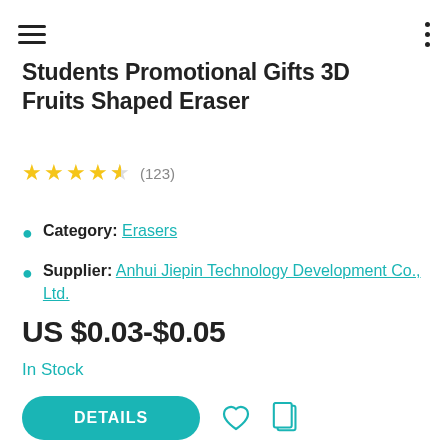Students Promotional Gifts 3D Fruits Shaped Eraser
★★★★½ (123)
Category: Erasers
Supplier: Anhui Jiepin Technology Development Co., Ltd.
US $0.03-$0.05
In Stock
DETAILS